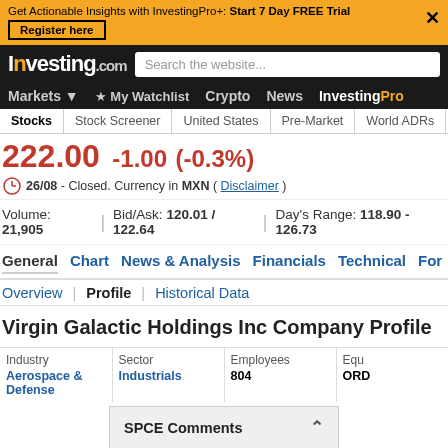Get Actionable Insights with InvestingPro+: Start 7 Day FREE Trial | Register here
Investing.com | Search the website... | Markets | My Watchlist | Crypto | News | InvestingPro
Stocks | Stock Screener | United States | Pre-Market | World ADRs
222.00  -1.00  (-0.3%)
26/08 - Closed. Currency in MXN ( Disclaimer )
Volume: 21,905 | Bid/Ask: 120.01 / 122.64 | Day's Range: 118.90 - 126.73
General | Chart | News & Analysis | Financials | Technical | For
Overview | Profile | Historical Data
Virgin Galactic Holdings Inc Company Profile
| Industry | Sector | Employees | Equ |
| --- | --- | --- | --- |
| Aerospace & Defense | Industrials | 804 | ORD |
SPCE Comments